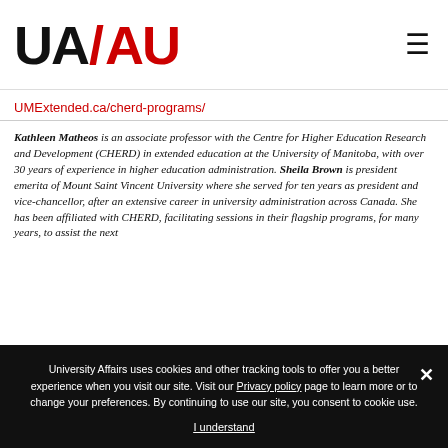UA/AU logo and navigation menu
UMExtended.ca/cherd-programs/
Kathleen Matheos is an associate professor with the Centre for Higher Education Research and Development (CHERD) in extended education at the University of Manitoba, with over 30 years of experience in higher education administration. Sheila Brown is president emerita of Mount Saint Vincent University where she served for ten years as president and vice-chancellor, after an extensive career in university administration across Canada. She has been affiliated with CHERD, facilitating sessions in their flagship programs, for many years, to assist the next
University Affairs uses cookies and other tracking tools to offer you a better experience when you visit our site. Visit our Privacy policy page to learn more or to change your preferences. By continuing to use our site, you consent to cookie use.
I understand